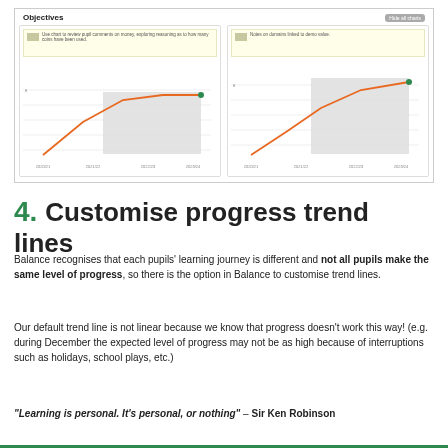[Figure (screenshot): Screenshot of 'Objectives' dashboard with two line charts showing progress trend lines. Left chart shows coin usage data with orange rising line and grey shaded area. Right chart shows domain linked to demo value with orange rising line and grey shaded area. 'Hide all charts' button in top right.]
4. Customise progress trend lines
Balance recognises that each pupils' learning journey is different and not all pupils make the same level of progress, so there is the option in Balance to customise trend lines.
Our default trend line is not linear because we know that progress doesn't work this way! (e.g. during December the expected level of progress may not be as high because of interruptions such as holidays, school plays, etc.)
“Learning is personal. It’s personal, or nothing” – Sir Ken Robinson